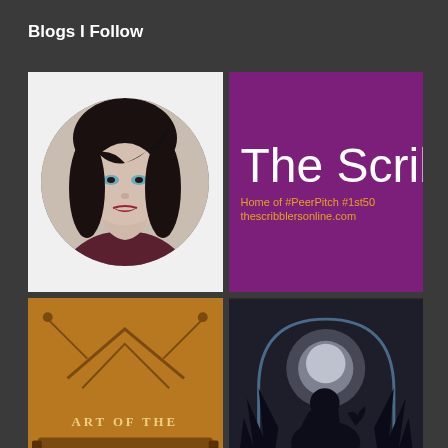Blogs I Follow
[Figure (photo): Circular portrait photo of a woman with long black hair, pale skin, and red lips, wearing a dark top, on white background]
[Figure (logo): Purple background with large white text 'The Scrib' (cropped), orange text 'Home of #PeerPitch #1st50' and 'thescribblersonline.com']
[Figure (logo): Gold/orange background with ornate banner text reading 'Art of the Arcane' with decorative crown/arch design]
[Figure (logo): Dark background with gothic arch illustration of shadowy hooded figure on horseback under moonlight, white text 'Bookwraiths' at bottom]